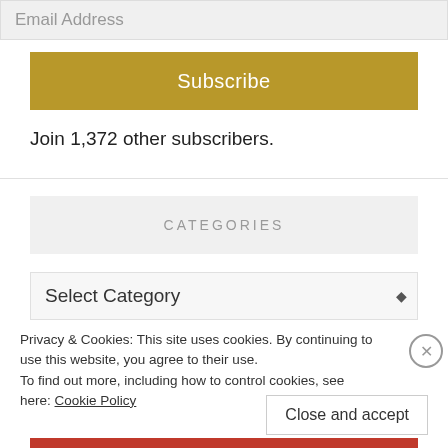Email Address
Subscribe
Join 1,372 other subscribers.
CATEGORIES
Select Category
Privacy & Cookies: This site uses cookies. By continuing to use this website, you agree to their use. To find out more, including how to control cookies, see here: Cookie Policy
Close and accept